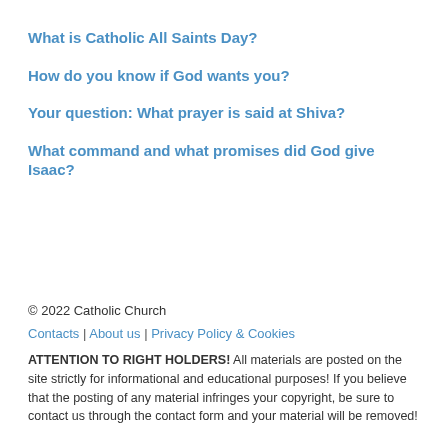What is Catholic All Saints Day?
How do you know if God wants you?
Your question: What prayer is said at Shiva?
What command and what promises did God give Isaac?
© 2022 Catholic Church
Contacts | About us | Privacy Policy & Cookies
ATTENTION TO RIGHT HOLDERS! All materials are posted on the site strictly for informational and educational purposes! If you believe that the posting of any material infringes your copyright, be sure to contact us through the contact form and your material will be removed!